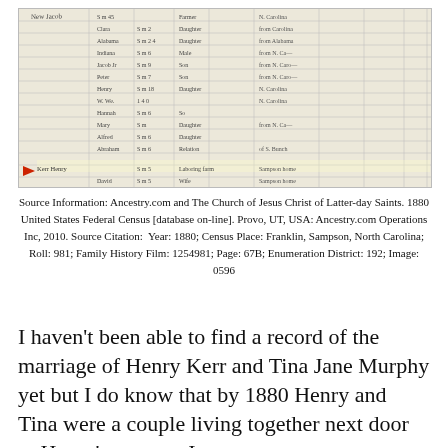[Figure (photo): 1880 United States Federal Census handwritten record image, showing multiple rows of entries with columns for names, ages, occupations, and birthplaces. A red arrow points to a specific row entry for Henry Kerr.]
Source Information: Ancestry.com and The Church of Jesus Christ of Latter-day Saints. 1880 United States Federal Census [database on-line]. Provo, UT, USA: Ancestry.com Operations Inc, 2010. Source Citation:  Year: 1880; Census Place: Franklin, Sampson, North Carolina; Roll: 981; Family History Film: 1254981; Page: 67B; Enumeration District: 192; Image: 0596
I haven't been able to find a record of the marriage of Henry Kerr and Tina Jane Murphy yet but I do know that by 1880 Henry and Tina were a couple living together next door to Henry's parents. I am